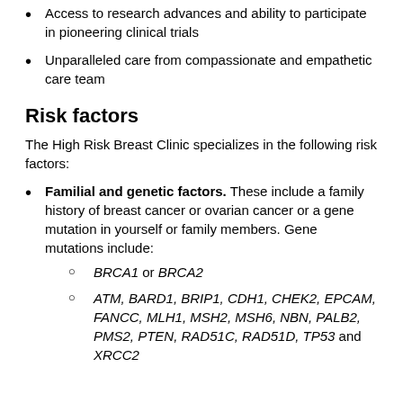Access to research advances and ability to participate in pioneering clinical trials
Unparalleled care from compassionate and empathetic care team
Risk factors
The High Risk Breast Clinic specializes in the following risk factors:
Familial and genetic factors. These include a family history of breast cancer or ovarian cancer or a gene mutation in yourself or family members. Gene mutations include:
BRCA1 or BRCA2
ATM, BARD1, BRIP1, CDH1, CHEK2, EPCAM, FANCC, MLH1, MSH2, MSH6, NBN, PALB2, PMS2, PTEN, RAD51C, RAD51D, TP53 and XRCC2